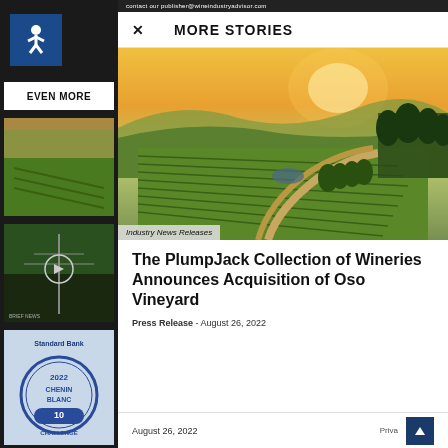contact our publisher@wineindustry.advisor.com
MORE STORIES
[Figure (photo): Aerial photograph of PlumpJack vineyard with rows of grapevines, winding roads, and hills in background at sunset]
Industry News Releases
The PlumpJack Collection of Wineries Announces Acquisition of Oso Vineyard
Press Release - August 26, 2022
August 26, 2022